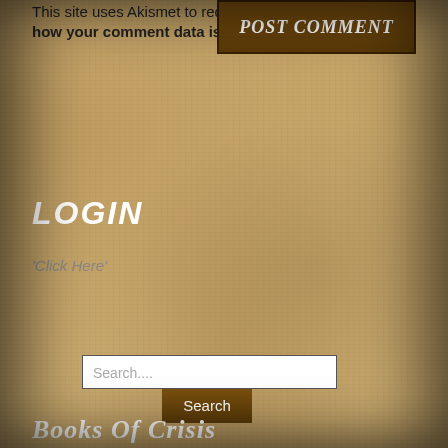This site uses Akismet to reduce spam. Learn how your comment data is processed.
[Figure (other): Brown 'Post Comment' button with italic bold white text on dark brown background]
LOGIN
'Click Here'
[Figure (other): Search input field with placeholder 'Search....' and a brown Search button]
Books of Crisis